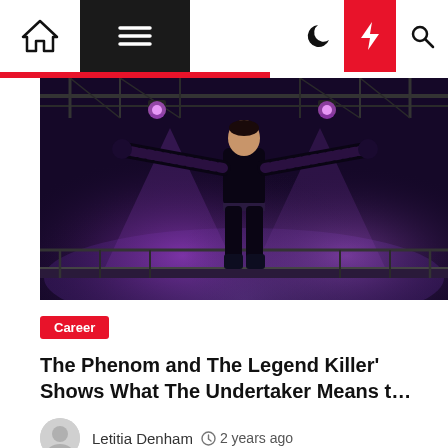Navigation bar with home, menu, moon, lightning, and search icons
[Figure (photo): A WWE wrestler (The Undertaker) standing on a stage with arms outstretched, purple/blue stage lighting and scaffolding in the background]
Career
The Phenom and The Legend Killer' Shows What The Undertaker Means t…
Letitia Denham  2 years ago